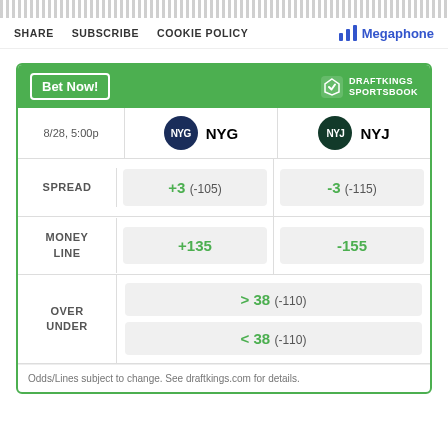SHARE  SUBSCRIBE  COOKIE POLICY  |  Megaphone
[Figure (infographic): DraftKings Sportsbook betting widget showing NYG vs NYJ game on 8/28 5:00p. Spread: NYG +3 (-105), NYJ -3 (-115). Money Line: NYG +135, NYJ -155. Over/Under: >38 (-110) / <38 (-110). Odds/Lines subject to change. See draftkings.com for details.]